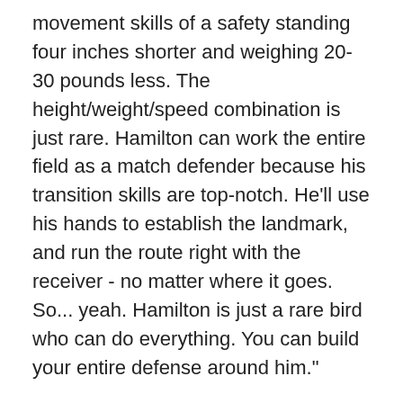movement skills of a safety standing four inches shorter and weighing 20-30 pounds less. The height/weight/speed combination is just rare. Hamilton can work the entire field as a match defender because his transition skills are top-notch. He'll use his hands to establish the landmark, and run the route right with the receiver - no matter where it goes. So... yeah. Hamilton is just a rare bird who can do everything. You can build your entire defense around him."
Clark: The box guy
"Clark is at his best when he's closer to